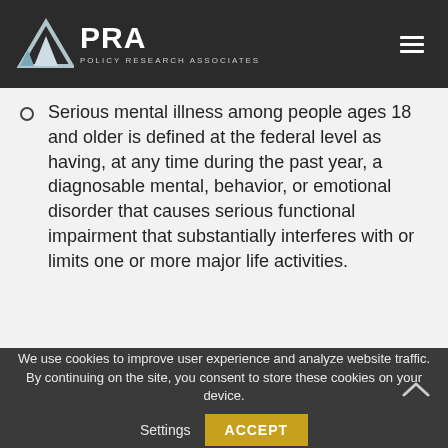PRA POLICY RESEARCH ASSOCIATES
Serious mental illness among people ages 18 and older is defined at the federal level as having, at any time during the past year, a diagnosable mental, behavior, or emotional disorder that causes serious functional impairment that substantially interferes with or limits one or more major life activities.
We use cookies to improve user experience and analyze website traffic. By continuing on the site, you consent to store these cookies on your device.